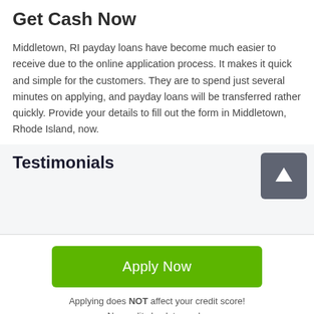Get Cash Now
Middletown, RI payday loans have become much easier to receive due to the online application process. It makes it quick and simple for the customers. They are to spend just several minutes on applying, and payday loans will be transferred rather quickly. Provide your details to fill out the form in Middletown, Rhode Island, now.
Testimonials
[Figure (other): Scroll-up button: dark grey square with upward arrow icon]
Apply Now
Applying does NOT affect your credit score!
No credit check to apply.